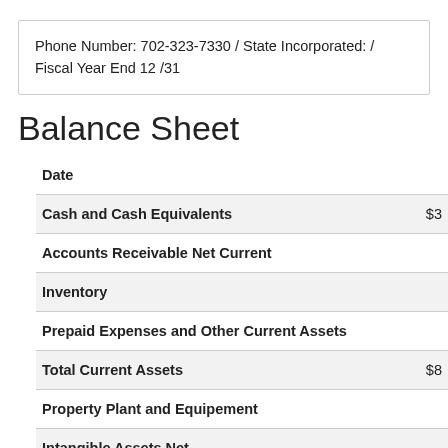Phone Number: 702-323-7330 / State Incorporated: / Fiscal Year End 12 /31
Balance Sheet
| Date |  |
| --- | --- |
| Cash and Cash Equivalents | $3... |
| Accounts Receivable Net Current |  |
| Inventory |  |
| Prepaid Expenses and Other Current Assets |  |
| Total Current Assets | $8... |
| Property Plant and Equipement |  |
| Intangible Assets Net |  |
| Goodwill |  |